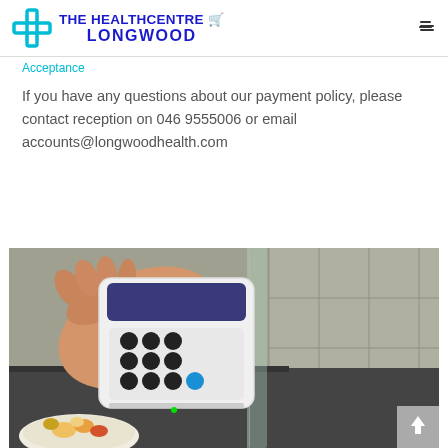THE HEALTHCENTRE LONGWOOD
Acceptance
If you have any questions about our payment policy, please contact reception on 046 9555006 or email accounts@longwoodhealth.com
[Figure (photo): A hand holding a white card payment terminal/PIN pad device positioned at a payment counter, with a bowl of food visible in the foreground and a glass partition in the background.]